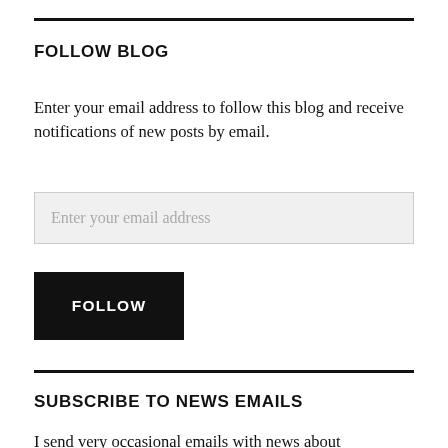FOLLOW BLOG
Enter your email address to follow this blog and receive notifications of new posts by email.
Enter your email address
FOLLOW
SUBSCRIBE TO NEWS EMAILS
I send very occasional emails with news about